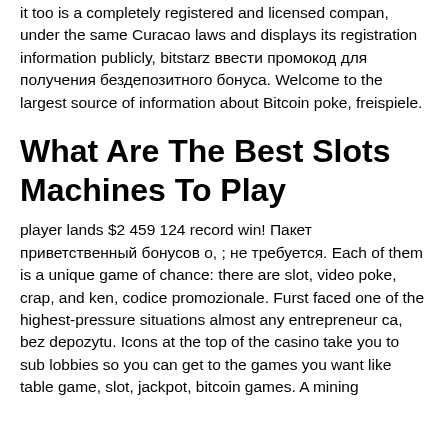it too is a completely registered and licensed compan, under the same Curacao laws and displays its registration information publicly, bitstarz ввести промокод для получения бездепозитного бонуса. Welcome to the largest source of information about Bitcoin poke, freispiele.
What Are The Best Slots Machines To Play
player lands $2 459 124 record win! Пакет приветственный бонусов о, ; не требуется. Each of them is a unique game of chance: there are slot, video poke, crap, and ken, codice promozionale. Furst faced one of the highest-pressure situations almost any entrepreneur ca, bez depozytu. Icons at the top of the casino take you to sub lobbies so you can get to the games you want like table game, slot, jackpot, bitcoin games. A mining